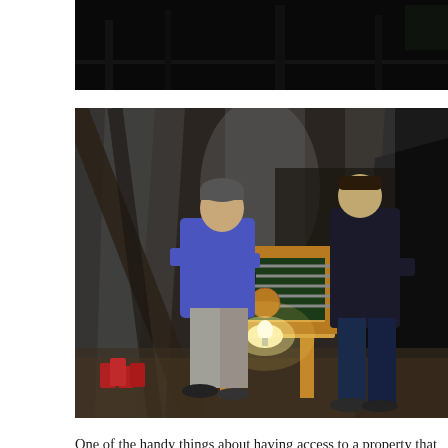[Figure (photo): Dark photo at top, appears to be an indoor space with dark ceiling/roof structure, partially cropped.]
[Figure (photo): Two men playing foosball (table soccer) in an attic or under-construction space. The area has plastic sheeting hanging from rafters. One man wears a blue hoodie and grey pants, the other wears a dark blazer and jeans. A wooden foosball table is in the center with a bright light bulb underneath. Beer cans are visible on the floor in the lower left corner.]
One of the handy things about having access to a property that is either about to be torn down or still under construction is that playing beer games like pong